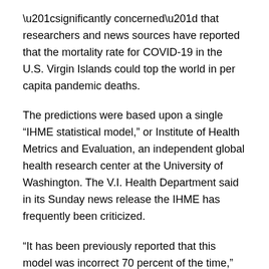“significantly concerned” that researchers and news sources have reported that the mortality rate for COVID-19 in the U.S. Virgin Islands could top the world in per capita pandemic deaths.
The predictions were based upon a single “IHME statistical model,” or Institute of Health Metrics and Evaluation, an independent global health research center at the University of Washington. The V.I. Health Department said in its Sunday news release the IHME has frequently been criticized.
“It has been previously reported that this model was incorrect 70 percent of the time,” the DOH statement said. “COVID-19 is unpredictable, but these models are also extremely unreliable if used to predict cases or deaths months or even weeks into the future. The Centers for Disease Control and Prevention recommends using a combination of models, of which there are 14, as a the...